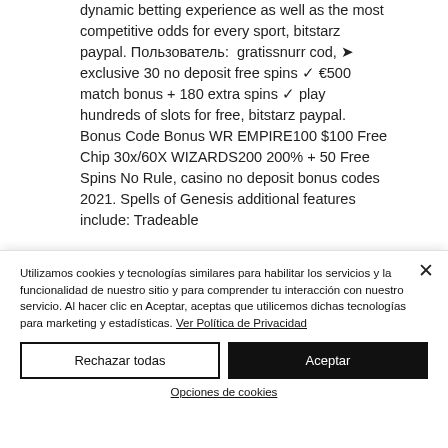dynamic betting experience as well as the most competitive odds for every sport, bitstarz paypal. Пользователь: gratissnurr cod, ➤ exclusive 30 no deposit free spins ✓ €500 match bonus + 180 extra spins ✓ play hundreds of slots for free, bitstarz paypal. Bonus Code Bonus WR EMPIRE100 $100 Free Chip 30x/60X WIZARDS200 200% + 50 Free Spins No Rule, casino no deposit bonus codes 2021. Spells of Genesis additional features include: Tradeable
Utilizamos cookies y tecnologías similares para habilitar los servicios y la funcionalidad de nuestro sitio y para comprender tu interacción con nuestro servicio. Al hacer clic en Aceptar, aceptas que utilicemos dichas tecnologías para marketing y estadísticas. Ver Política de Privacidad
Rechazar todas
Aceptar
Opciones de cookies